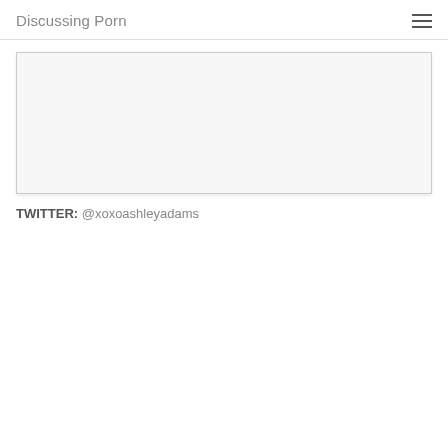Discussing Porn
[Figure (other): Empty image placeholder box with light gray background and border]
TWITTER: @xoxoashleyadams